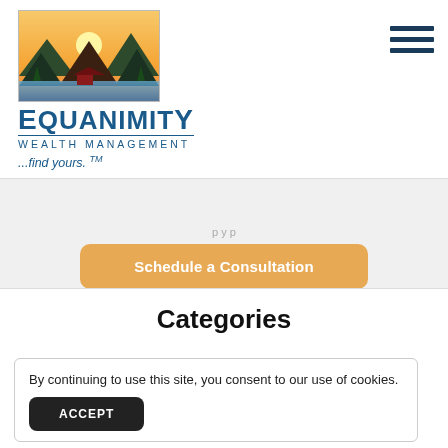[Figure (logo): Equanimity Wealth Management logo with mountain/lake landscape image above company name and tagline '...find yours. TM']
...find yours. ™
Schedule a Consultation
Categories
By continuing to use this site, you consent to our use of cookies.
ACCEPT